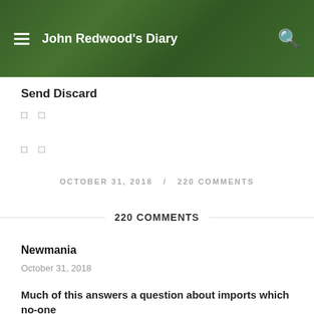John Redwood's Diary
Send Discard
□ □
□ □
OCTOBER 31, 2018  /  220 COMMENTS
220 COMMENTS
Newmania
October 31, 2018
Much of this answers a question about imports which no-one